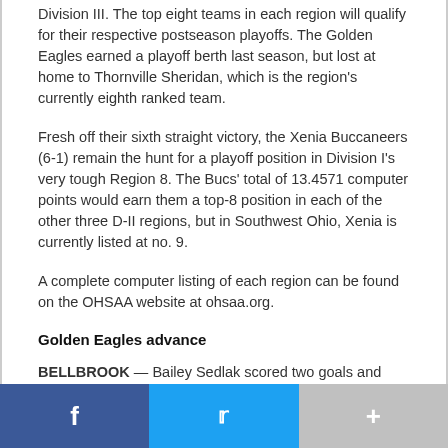Division III. The top eight teams in each region will qualify for their respective postseason playoffs. The Golden Eagles earned a playoff berth last season, but lost at home to Thornville Sheridan, which is the region's currently eighth ranked team.
Fresh off their sixth straight victory, the Xenia Buccaneers (6-1) remain the hunt for a playoff position in Division I's very tough Region 8. The Bucs' total of 13.4571 computer points would earn them a top-8 position in each of the other three D-II regions, but in Southwest Ohio, Xenia is currently listed at no. 9.
A complete computer listing of each region can be found on the OHSAA website at ohsaa.org.
Golden Eagles advance
BELLBROOK — Bailey Sedlak scored two goals and added